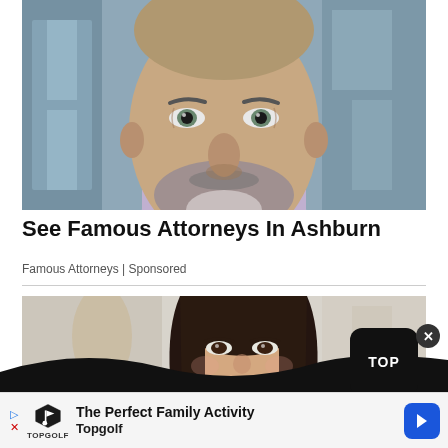[Figure (photo): Close-up portrait of a middle-aged man with salt-and-pepper beard and light eyes, wearing a light shirt, blurred building background]
See Famous Attorneys In Ashburn
Famous Attorneys | Sponsored
[Figure (photo): Portrait of a young woman with dark hair, smiling, in a light indoor setting]
[Figure (infographic): Advertisement banner for Topgolf with logo and text: The Perfect Family Activity / Topgolf]
The Perfect Family Activity Topgolf